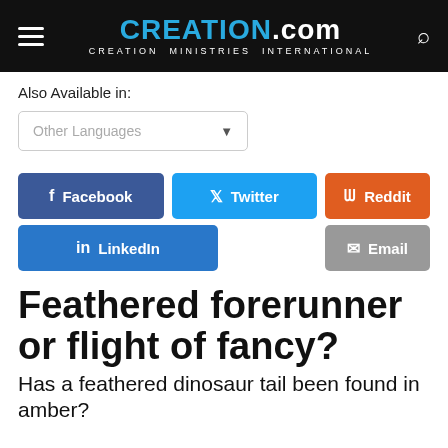CREATION.com — CREATION MINISTRIES INTERNATIONAL
Also Available in:
Other Languages
Facebook  Twitter  Reddit  LinkedIn  Email
Feathered forerunner or flight of fancy?
Has a feathered dinosaur tail been found in amber?